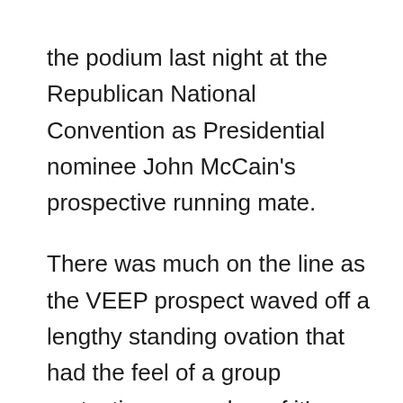the podium last night at the Republican National Convention as Presidential nominee John McCain's prospective running mate.
There was much on the line as the VEEP prospect waved off a lengthy standing ovation that had the feel of a group protecting a member of it's own family.
The chills were palpable as the crowd's applause and cheers continued on and on, and the strength and length of the crowd reaction to her appearance was obviously in support